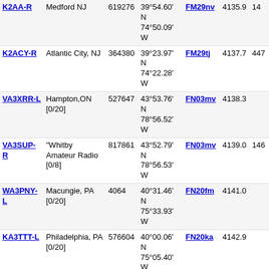| Callsign | Location | ID | Coordinates | Grid | Freq |  |
| --- | --- | --- | --- | --- | --- | --- |
| K2AA-R | Medford NJ | 619276 | 39°54.60' N 74°50.09' W | FM29nv | 4135.9 | 14 |
| K2ACY-R | Atlantic City, NJ | 364380 | 39°23.97' N 74°22.28' W | FM29tj | 4137.7 | 447 |
| VA3XRR-L | Hampton,ON [0/20] | 527647 | 43°53.76' N 78°56.52' W | FN03mv | 4138.3 |  |
| VA3SUP-R | "Whitby Amateur Radio [0/8] | 817861 | 43°52.79' N 78°56.53' W | FN03mv | 4139.0 | 146 |
| WA3PNY-L | Macungie, PA [0/20] | 4064 | 40°31.46' N 75°33.93' W | FN20fm | 4141.0 |  |
| KA3TTT-L | Philadelphia, PA [0/20] | 576604 | 40°00.06' N 75°05.40' W | FN20ka | 4142.9 |  |
| K3FZT-L | Philadelphia,PA FN20 [0/20] | 682248 | 40°03.50' N 75°11.36' W | FN20jb | 4144.7 |  |
| W3QV-R | Roxborough Philadelphia, PA | 933603 | 40°02.29' N 75°13.34' W | FN20ja | 4146.9 |  |
| K3YO-L | Conshohocken, PA [0/20] | 445823 | 40°04.74' N 75°18.06' W | FN20ib | 4148.5 |  |
| W2KU-L | Harbor Township, NJ [0/20] | 570831 | 39°23.04' N 74°36.78' W | FM29qj | 4148.6 |  |
| K2BR-R | Egg Harbor Twp, NJ /Private | 553401 | 39°24.07' N 74°38.07' W | FM29qj | 4148.8 | 146 |
| VA3PWR-R | Newmarket Ont. Canada | 583427 | 44°01.47' N 79°20.97' W | FN04ha | 4149.1 | 443 |
| N3RJV-L | South Philadelphia ,PA | 171616 | 39°55.09' N 75°10.10' W | FM29jw | 4149.7 | 147 |
| KK2L-L | Williamstown, NJ | 689813 | 39°41.16' N | FM29mv | 4153.8 |  |